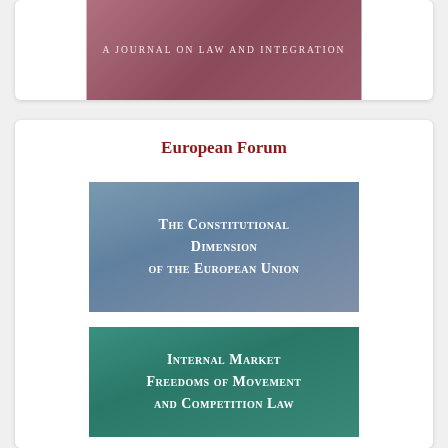[Figure (illustration): Partially visible journal banner with mauve/rose gradient background and text 'A Journal on Law and Integration' in small caps]
European Forum
[Figure (illustration): Blue-grey gradient banner with text 'The Constitutional Dimension of the European Union' in white small-caps]
[Figure (illustration): Teal gradient banner with text 'Internal Market Freedoms of Movement and Competition Law' in white small-caps (partially visible)]